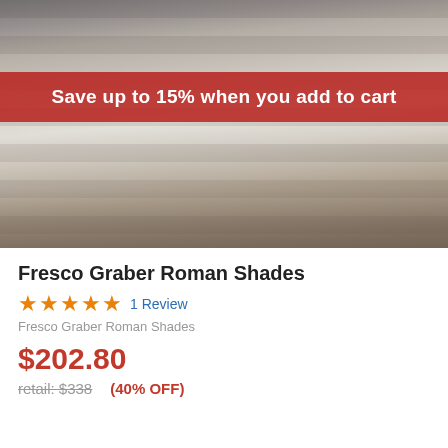[Figure (photo): Room interior photo showing roman shades and curtains on windows, with a dining table, chairs, and a sofa in a light gray room]
Save up to 15% when you add to cart
Fresco Graber Roman Shades
★★★★★ 1 Review
Fresco Graber Roman Shades
$202.80
retail: $338   (40% OFF)